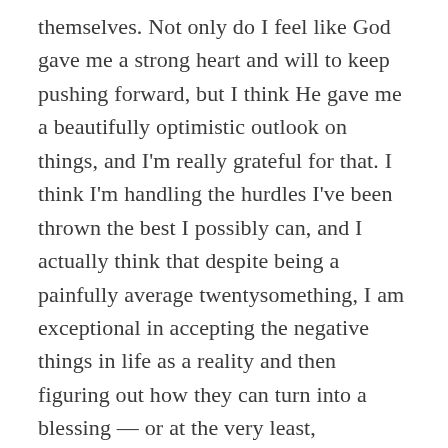themselves. Not only do I feel like God gave me a strong heart and will to keep pushing forward, but I think He gave me a beautifully optimistic outlook on things, and I'm really grateful for that. I think I'm handling the hurdles I've been thrown the best I possibly can, and I actually think that despite being a painfully average twentysomething, I am exceptional in accepting the negative things in life as a reality and then figuring out how they can turn into a blessing — or at the very least, something that doesn't consume me. I have always said that I may have POTS, but POTS doesn't have me. The same goes for my chronic widespread pain; it's a big part of my life, but there's no way in hell that chronic pain is going